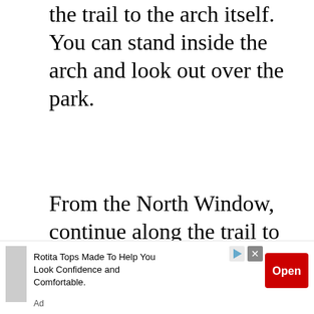the trail to the arch itself.  You can stand inside the arch and look out over the park.
From the North Window, continue along the trail to the South Window.  You can go back the way you came (or hop over to Turret Arch), or you can return from South Window to the parking area via a primitive trail that goes behind the two windows.  There are cairns marking the primitive trail
[Figure (other): Advertisement banner: Rotita Tops Made To Help You Look Confidence and Comfortable. Contains an Open button in red and ad icons.]